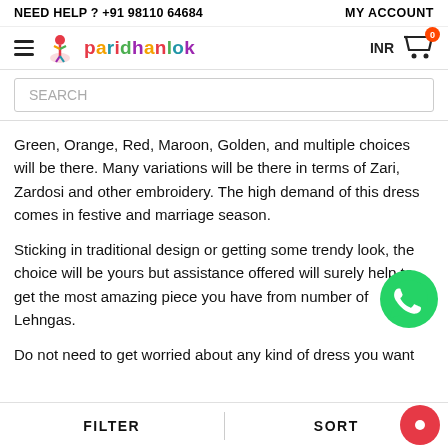NEED HELP ? +91 98110 64684   MY ACCOUNT
[Figure (logo): Paridhanlok logo with colorful text and dancer icon]
SEARCH
Green, Orange, Red, Maroon, Golden, and multiple choices will be there. Many variations will be there in terms of Zari, Zardosi and other embroidery. The high demand of this dress comes in festive and marriage season.
Sticking in traditional design or getting some trendy look, the choice will be yours but assistance offered will surely help to get the most amazing piece you have from number of Lehngas.
Do not need to get worried about any kind of dress you want from Indian Attire as we are having a fine stock of Lehngas and other dresses too. What you need to do is
FILTER   SORT